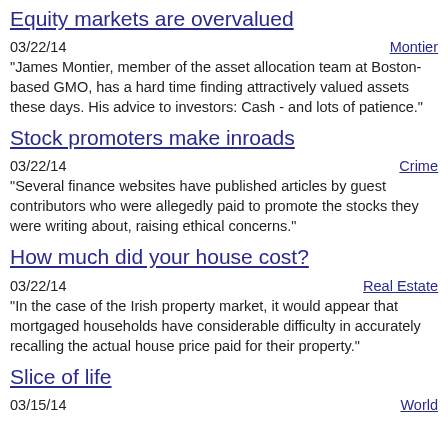Equity markets are overvalued
03/22/14   Montier
"James Montier, member of the asset allocation team at Boston-based GMO, has a hard time finding attractively valued assets these days. His advice to investors: Cash - and lots of patience."
Stock promoters make inroads
03/22/14   Crime
"Several finance websites have published articles by guest contributors who were allegedly paid to promote the stocks they were writing about, raising ethical concerns."
How much did your house cost?
03/22/14   Real Estate
"In the case of the Irish property market, it would appear that mortgaged households have considerable difficulty in accurately recalling the actual house price paid for their property."
Slice of life
03/15/14   World